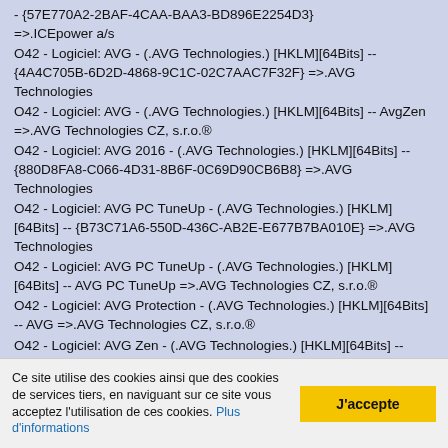- {57E770A2-2BAF-4CAA-BAA3-BD896E2254D3} =>.ICEpower a/s
O42 - Logiciel: AVG - (.AVG Technologies.) [HKLM][64Bits] -- {4A4C705B-6D2D-4868-9C1C-02C7AAC7F32F} =>.AVG Technologies
O42 - Logiciel: AVG - (.AVG Technologies.) [HKLM][64Bits] -- AvgZen =>.AVG Technologies CZ, s.r.o.®
O42 - Logiciel: AVG 2016 - (.AVG Technologies.) [HKLM][64Bits] -- {880D8FA8-C066-4D31-8B6F-0C69D90CB6B8} =>.AVG Technologies
O42 - Logiciel: AVG PC TuneUp - (.AVG Technologies.) [HKLM][64Bits] -- {B73C71A6-550D-436C-AB2E-E677B7BA010E} =>.AVG Technologies
O42 - Logiciel: AVG PC TuneUp - (.AVG Technologies.) [HKLM][64Bits] -- AVG PC TuneUp =>.AVG Technologies CZ, s.r.o.®
O42 - Logiciel: AVG Protection - (.AVG Technologies.) [HKLM][64Bits] -- AVG =>.AVG Technologies CZ, s.r.o.®
O42 - Logiciel: AVG Zen - (.AVG Technologies.) [HKLM][64Bits] -- {1EFBE36D-6AB8-4981-80AF-6CC22279F1E9} =>.AVG
Ce site utilise des cookies ainsi que des cookies de services tiers, en naviguant sur ce site vous acceptez l'utilisation de ces cookies. Plus d'informations